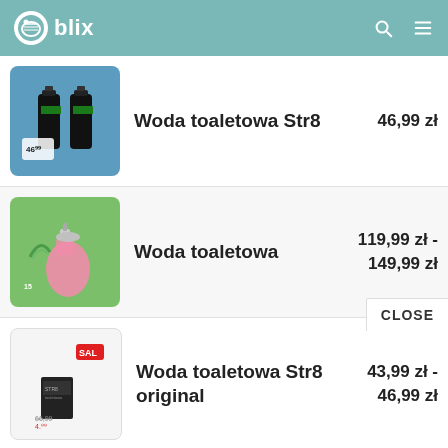blix
Woda toaletowa Str8 — 46,99 zł
Woda toaletowa — 119,99 zł - 149,99 zł
Woda toaletowa Str8 original — 43,99 zł - 46,99 zł
Woda toaletowa Mexx black men — 54,99 zł
CLOSE